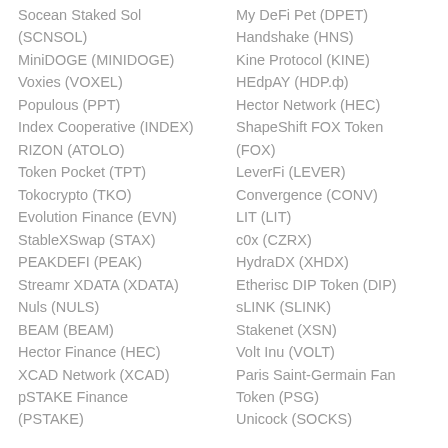Socean Staked Sol (SCNSOL)
MiniDOGE (MINIDOGE)
Voxies (VOXEL)
Populous (PPT)
Index Cooperative (INDEX)
RIZON (ATOLO)
Token Pocket (TPT)
Tokocrypto (TKO)
Evolution Finance (EVN)
StableXSwap (STAX)
PEAKDEFI (PEAK)
Streamr XDATA (XDATA)
Nuls (NULS)
BEAM (BEAM)
Hector Finance (HEC)
XCAD Network (XCAD)
pSTAKE Finance (PSTAKE)
My DeFi Pet (DPET)
Handshake (HNS)
Kine Protocol (KINE)
HEdpAY (HDP.ф)
Hector Network (HEC)
ShapeShift FOX Token (FOX)
LeverFi (LEVER)
Convergence (CONV)
LIT (LIT)
c0x (CZRX)
HydraDX (XHDX)
Etherisc DIP Token (DIP)
sLINK (SLINK)
Stakenet (XSN)
Volt Inu (VOLT)
Paris Saint-Germain Fan Token (PSG)
Unicock (SOCKS)